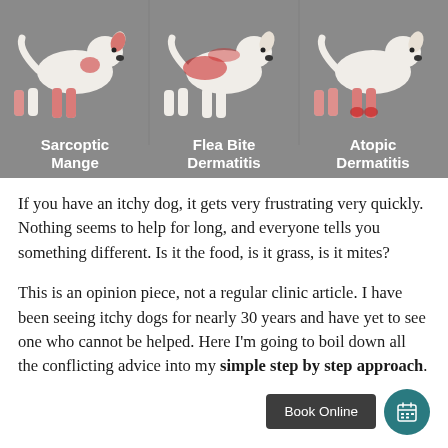[Figure (illustration): Infographic showing three dog silhouettes on grey background with red highlighted areas indicating affected body regions for three conditions: Sarcoptic Mange (legs/ears highlighted), Flea Bite Dermatitis (back/tail area highlighted), and Atopic Dermatitis (legs highlighted). Each dog is labeled in white bold text below.]
If you have an itchy dog, it gets very frustrating very quickly. Nothing seems to help for long, and everyone tells you something different. Is it the food, is it grass, is it mites?
This is an opinion piece, not a regular clinic article. I have been seeing itchy dogs for nearly 30 years and have yet to see one who cannot be helped. Here I'm going to boil down all the conflicting advice into my simple step by step approach.
Continue reading